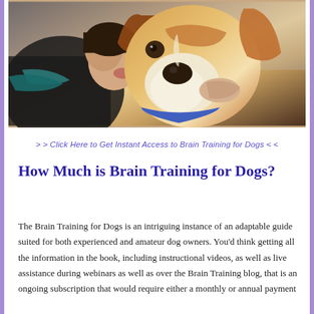[Figure (photo): A person kissing/nuzzling a beagle dog, close-up photo with warm tones]
> > Click Here to Get Instant Access to Brain Training for Dogs < <
How Much is Brain Training for Dogs?
The Brain Training for Dogs is an intriguing instance of an adaptable guide suited for both experienced and amateur dog owners. You'd think getting all the information in the book, including instructional videos, as well as live assistance during webinars as well as over the Brain Training blog, that is an ongoing subscription that would require either a monthly or annual payment